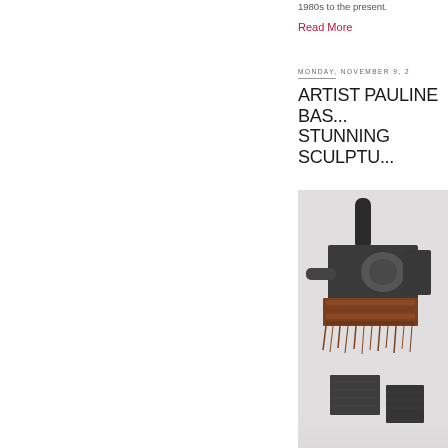1980s to the present.
Read More
MONDAY, NOVEMBER 9, 2
ARTIST PAULINE BAS... STUNNING SCULPTU...
[Figure (photo): A sculptural assemblage artwork made of dark metal or wood blocks bound together with rust-colored rope or twine, with cylindrical protrusions, photographed against a light gray background.]